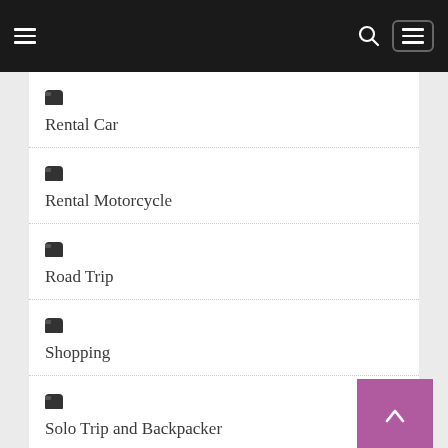Navigation bar with hamburger menu, search icon, and menu box
Rental Car
Rental Motorcycle
Road Trip
Shopping
Solo Trip and Backpacker